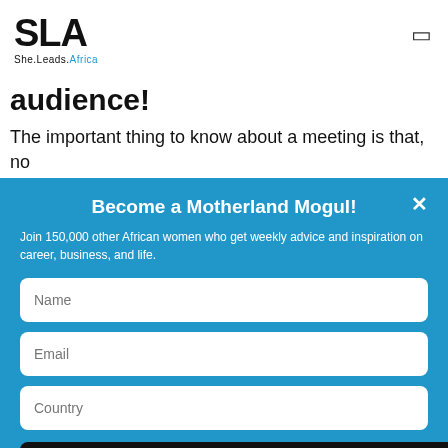SLA She.Leads.Africa
audience!
The important thing to know about a meeting is that, no
Become a Motherland Mogul!
Join 150,000 other African women who get weekly advice and inspiration on career, business, and life.
Name
Email
Country
YES, I'M IN!